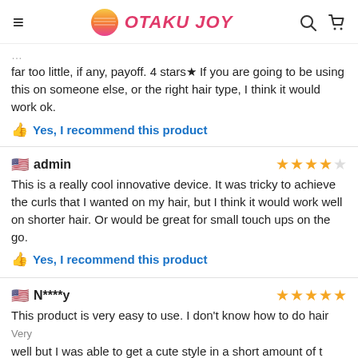OTAKU JOY
far too little, if any, payoff. 4 stars★ If you are going to be using this on someone else, or the right hair type, I think it would work ok.
👍 Yes, I recommend this product
admin — ★★★★☆
This is a really cool innovative device. It was tricky to achieve the curls that I wanted on my hair, but I think it would work well on shorter hair. Or would be great for small touch ups on the go.
👍 Yes, I recommend this product
N****y — ★★★★★
This product is very easy to use. I don't know how to do hair very well but I was able to get a cute style in a short amount of t
👍 Yes, I recommend this product